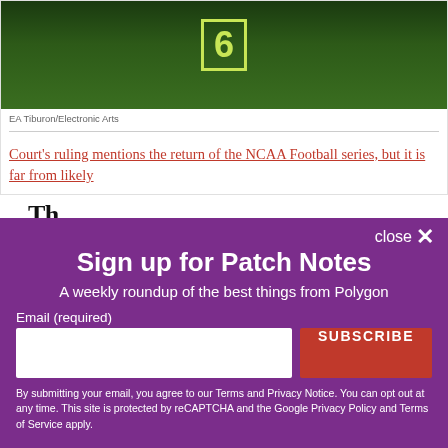[Figure (photo): Screenshot of NCAA Football video game showing player in green Oregon Ducks jersey with number, from EA Tiburon/Electronic Arts]
EA Tiburon/Electronic Arts
Court's ruling mentions the return of the NCAA Football series, but it is far from likely
Th...
Sign up for Patch Notes
A weekly roundup of the best things from Polygon
Email (required)
SUBSCRIBE
By submitting your email, you agree to our Terms and Privacy Notice. You can opt out at any time. This site is protected by reCAPTCHA and the Google Privacy Policy and Terms of Service apply.